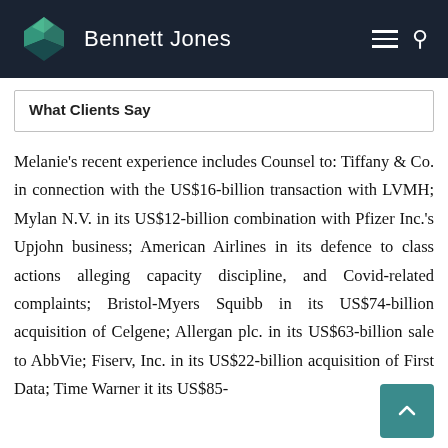Bennett Jones
What Clients Say
Melanie's recent experience includes Counsel to: Tiffany & Co. in connection with the US$16-billion transaction with LVMH; Mylan N.V. in its US$12-billion combination with Pfizer Inc.'s Upjohn business; American Airlines in its defence to class actions alleging capacity discipline, and Covid-related complaints; Bristol-Myers Squibb in its US$74-billion acquisition of Celgene; Allergan plc. in its US$63-billion sale to AbbVie; Fiserv, Inc. in its US$22-billion acquisition of First Data; Time Warner it its US$85-